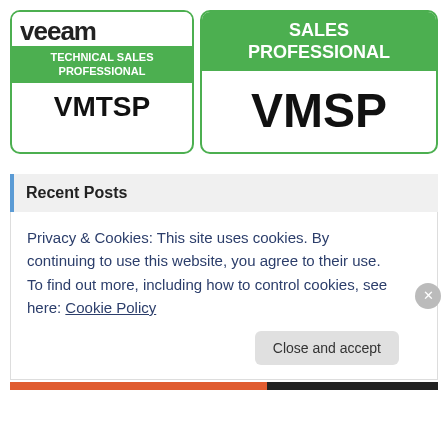[Figure (logo): Veeam Technical Sales Professional (VMTSP) badge with green border and Veeam logo]
[Figure (logo): Veeam Sales Professional (VMSP) badge with green header and large VMSP text]
Recent Posts
Privacy & Cookies: This site uses cookies. By continuing to use this website, you agree to their use.
To find out more, including how to control cookies, see here: Cookie Policy
Close and accept